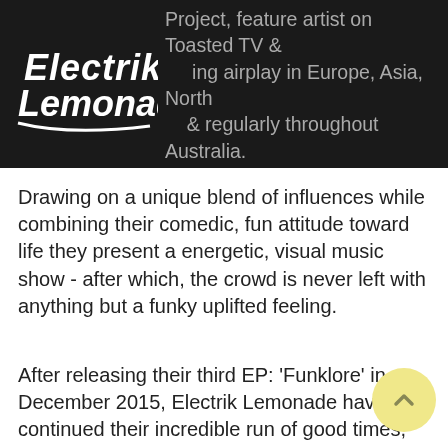Project, feature artist on Toasted TV & ...ing airplay in Europe, Asia, North ... & regularly throughout Australia.
[Figure (logo): Electrik Lemonade logo in white script text on dark background]
Drawing on a unique blend of influences while combining their comedic, fun attitude toward life they present a energetic, visual music show - after which, the crowd is never left with anything but a funky uplifted feeling.
After releasing their third EP: 'Funklore' in December 2015, Electrik Lemonade have continued their incredible run of good times, headlining the Byron Bay Beach Hotel, Solbar, The Hoey Moey, Nightquarter, Wintermoon Festival, Miami Marketta & Airlie Beach for NYE 17/18. Also recently performing at Airlie Beach Music Festival alongside 10cc, The Black Sorrows, John Paul Young, Ross Wilson, Richard Clapton